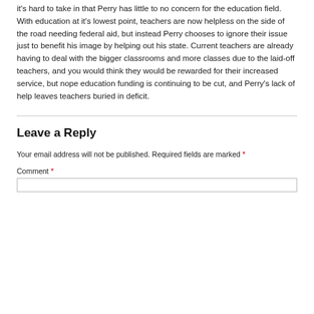it's hard to take in that Perry has little to no concern for the education field. With education at it's lowest point, teachers are now helpless on the side of the road needing federal aid, but instead Perry chooses to ignore their issue just to benefit his image by helping out his state. Current teachers are already having to deal with the bigger classrooms and more classes due to the laid-off teachers, and you would think they would be rewarded for their increased service, but nope education funding is continuing to be cut, and Perry's lack of help leaves teachers buried in deficit.
Leave a Reply
Your email address will not be published. Required fields are marked *
Comment *